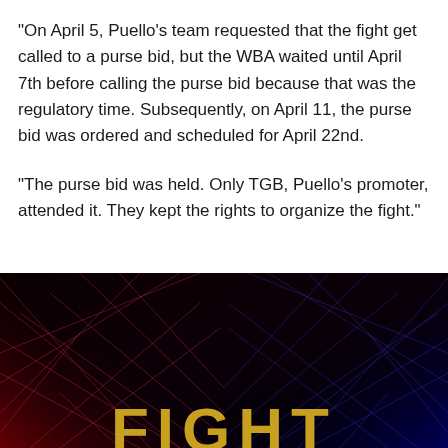“On April 5, Puello’s team requested that the fight get called to a purse bid, but the WBA waited until April 7th before calling the purse bid because that was the regulatory time. Subsequently, on April 11, the purse bid was ordered and scheduled for April 22nd.
“The purse bid was held. Only TGB, Puello’s promoter, attended it. They kept the rights to organize the fight.”
[Figure (photo): Dark promotional fight poster with diamond/grid pattern background, dark background transitioning from red-tinted lower left to blue-tinted lower right. Large gold/yellow text reading 'FIGHT' visible at the bottom edge.]